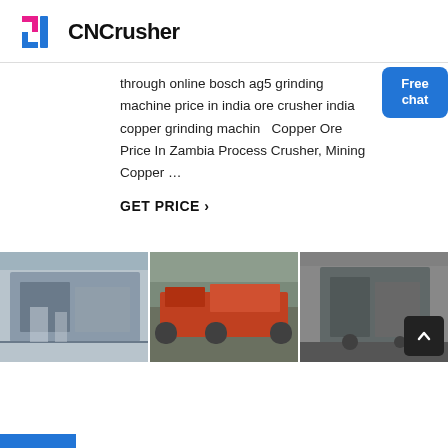CNCrusher
through online bosch ag5 grinding machine price in india ore crusher india copper grinding machine Copper Ore Price In Zambia Process Crusher, Mining Copper …
GET PRICE ›
[Figure (photo): Industrial crusher/processing equipment inside a factory building]
[Figure (photo): Red mining/transport machinery on trucks outdoors]
[Figure (photo): Large industrial crushing machine in warehouse]